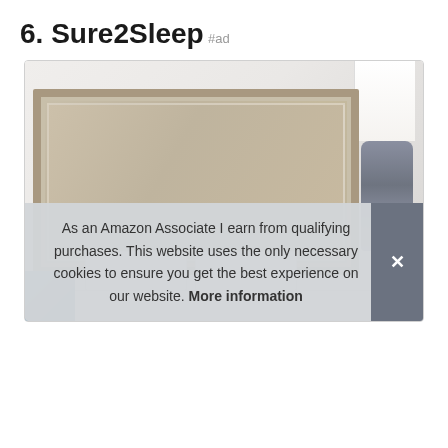6. Sure2Sleep
#ad
[Figure (photo): Bedroom scene showing a light wood headboard with panel detail, two white pillows on a bed, a decorative glass lamp base with white lampshade on the right side, and partial blue/ocean view on the left side.]
As an Amazon Associate I earn from qualifying purchases. This website uses the only necessary cookies to ensure you get the best experience on our website. More information